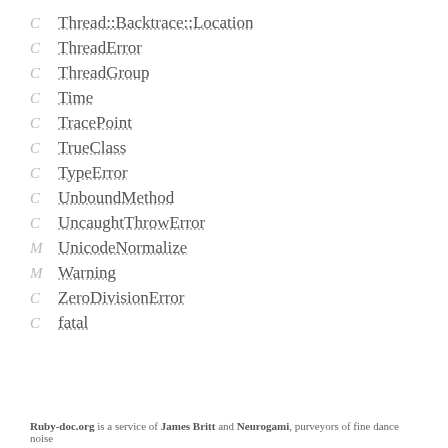C Thread::Backtrace::Location
C ThreadError
C ThreadGroup
C Time
C TracePoint
C TrueClass
C TypeError
C UnboundMethod
C UncaughtThrowError
M UnicodeNormalize
M Warning
C ZeroDivisionError
C fatal
Ruby-doc.org is a service of James Britt and Neurogami, purveyors of fine dance noise